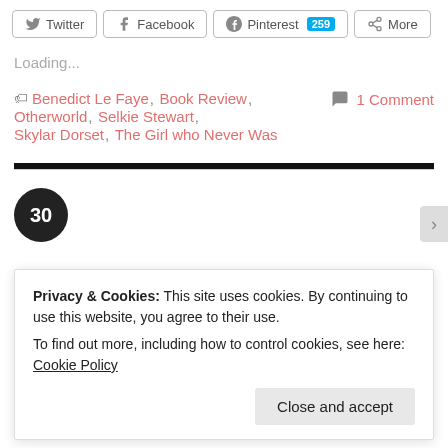[Figure (other): Social sharing buttons: Twitter, Facebook, Pinterest (259), More]
Loading...
Benedict Le Faye, Book Review, Otherworld, Selkie Stewart, Skylar Dorset, The Girl who Never Was
1 Comment
[Figure (other): Thick black horizontal divider line]
[Figure (other): Dark circular avatar with number 30]
Privacy & Cookies: This site uses cookies. By continuing to use this website, you agree to their use.
To find out more, including how to control cookies, see here: Cookie Policy
Close and accept